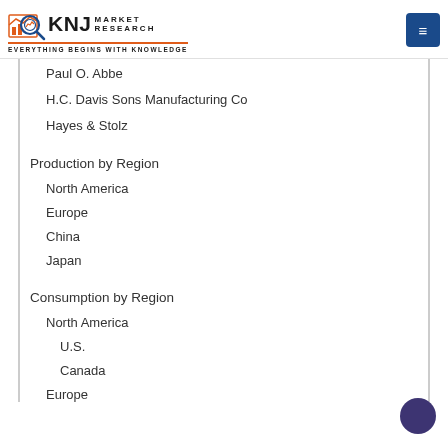KNJ MARKET RESEARCH — Everything Begins with Knowledge
Paul O. Abbe
H.C. Davis Sons Manufacturing Co
Hayes & Stolz
Production by Region
North America
Europe
China
Japan
Consumption by Region
North America
U.S.
Canada
Europe